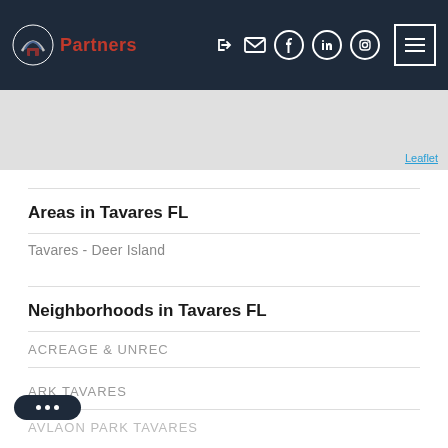[Figure (logo): Neighborhood Partners logo with house/arch icon and red Partners text]
[Figure (screenshot): Map area (Leaflet map placeholder, light gray)]
Leaflet
Areas in Tavares FL
Tavares - Deer Island
Neighborhoods in Tavares FL
ACREAGE & UNREC
ARK TAVARES
AVLAON PARK TAVARES